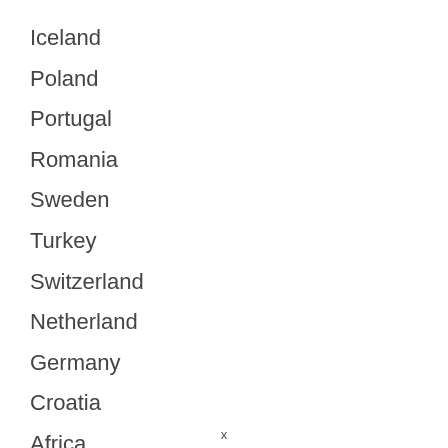Iceland
Poland
Portugal
Romania
Sweden
Turkey
Switzerland
Netherland
Germany
Croatia
Africa
x